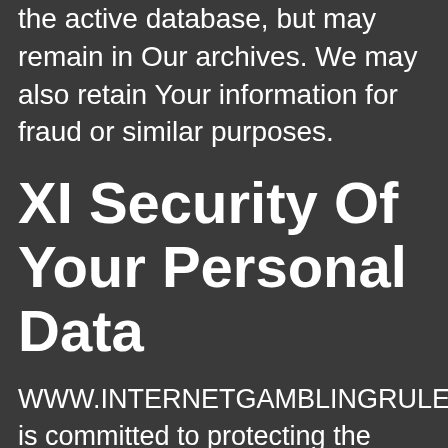the active database, but may remain in Our archives. We may also retain Your information for fraud or similar purposes.
XI Security Of Your Personal Data
WWW.INTERNETGAMBLINGRULES.CO is committed to protecting the security of Your Personal Data. We use a variety of industry-standard security technologies and procedures to help protect Your Personal Data from unauthorized access, use, or disclosure. We also require You to enter a password to